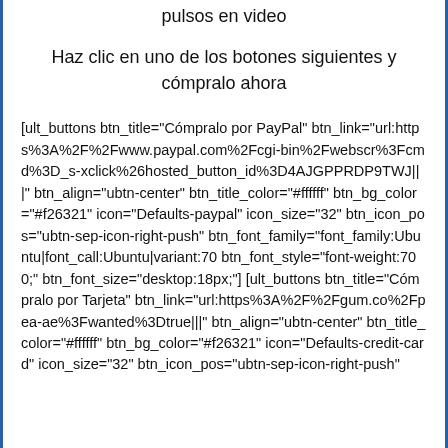pulsos en video
Haz clic en uno de los botones siguientes y cómpralo ahora
[ult_buttons btn_title="Cómpralo por PayPal" btn_link="url:https%3A%2F%2Fwww.paypal.com%2Fcgi-bin%2Fwebscr%3Fcmd%3D_s-xclick%26hosted_button_id%3D4AJGPPRDP9TWJ|||" btn_align="ubtn-center" btn_title_color="#ffffff" btn_bg_color="#f26321" icon="Defaults-paypal" icon_size="32" btn_icon_pos="ubtn-sep-icon-right-push" btn_font_family="font_family:Ubuntu|font_call:Ubuntu|variant:70 btn_font_style="font-weight:700;" btn_font_size="desktop:18px;"] [ult_buttons btn_title="Cómpralo por Tarjeta" btn_link="url:https%3A%2F%2Fgum.co%2Fpea-ae%3Fwanted%3Dtrue|||" btn_align="ubtn-center" btn_title_color="#ffffff" btn_bg_color="#f26321" icon="Defaults-credit-card" icon_size="32" btn_icon_pos="ubtn-sep-icon-right-push"